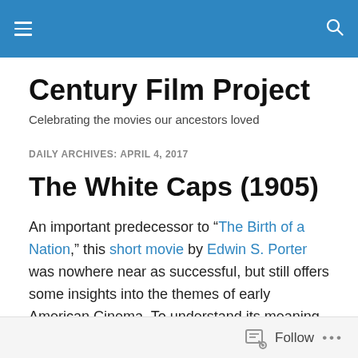Century Film Project — navigation bar
Century Film Project
Celebrating the movies our ancestors loved
DAILY ARCHIVES: APRIL 4, 2017
The White Caps (1905)
An important predecessor to “The Birth of a Nation,” this short movie by Edwin S. Porter was nowhere near as successful, but still offers some insights into the themes of early American Cinema. To understand its meaning today,
Follow